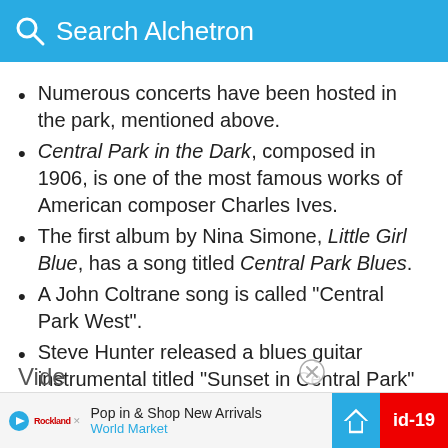Search Alchetron
Numerous concerts have been hosted in the park, mentioned above.
Central Park in the Dark, composed in 1906, is one of the most famous works of American composer Charles Ives.
The first album by Nina Simone, Little Girl Blue, has a song titled Central Park Blues.
A John Coltrane song is called "Central Park West".
Steve Hunter released a blues guitar instrumental titled "Sunset in Central Park" on his 2013 CD The Manhattan Blues Project
Vide
[Figure (infographic): Advertisement bar at bottom: Play button icon, Rockland logo, 'Pop in & Shop New Arrivals', 'World Market' in blue, blue arrow road sign icon, red badge with id-19]